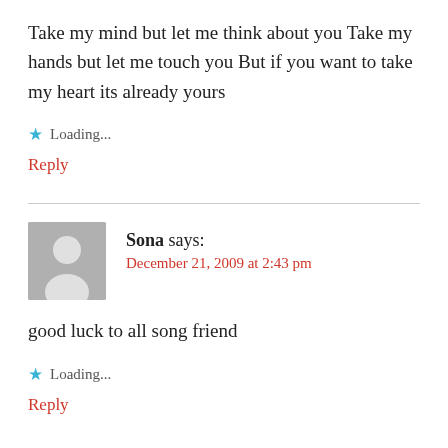Take my mind but let me think about you Take my hands but let me touch you But if you want to take my heart its already yours
Loading...
Reply
Sona says:
December 21, 2009 at 2:43 pm
good luck to all song friend
Loading...
Reply